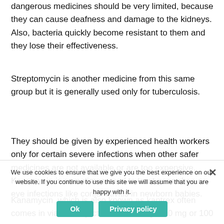dangerous medicines should be very limited, because they can cause deafness and damage to the kidneys. Also, bacteria quickly become resistant to them and they lose their effectiveness.
Streptomycin is another medicine from this same group but it is generally used only for tuberculosis.
They should be given by experienced health workers only for certain severe infections when other safer medicines are not available or are too expensive. Kanamycin is sometimes used to treat gonorrhea or eye infections like conjunctivitis in newborn babies.
Kanamycin  which is also known as kantrex often comes in vials for injection with 75 mg, 500 mg or 100 mg.